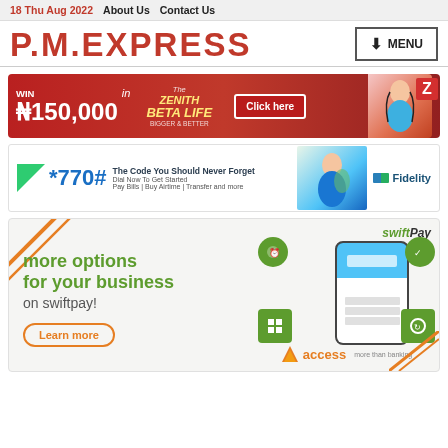18 Thu Aug 2022  About Us  Contact Us
P.M.EXPRESS
[Figure (infographic): Zenith Bank Beta Life advertisement: WIN ₦150,000 in The Zenith Beta Life Promo - Bigger & Better. Click here button. Woman with globe graphic.]
[Figure (infographic): Fidelity Bank advertisement: *770# The Code You Should Never Forget. Dial Now To Get Started. Pay Bills | Buy Airtime | Transfer and more. Man with phone graphic. Fidelity logo.]
[Figure (infographic): Access Bank SwiftPay advertisement: more options for your business on swiftpay! Learn more button. Smartphone with app features. access logo and swiftPay by eCOns branding.]